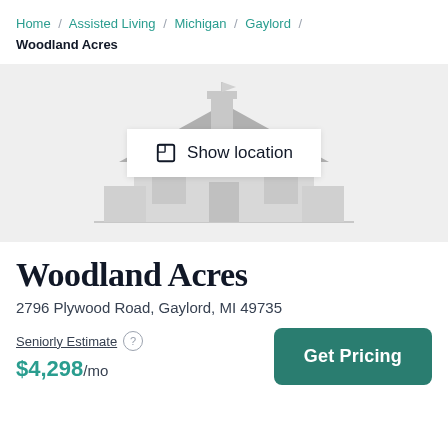Home / Assisted Living / Michigan / Gaylord / Woodland Acres
[Figure (illustration): Gray house illustration placeholder with a 'Show location' button overlay]
Woodland Acres
2796 Plywood Road, Gaylord, MI 49735
Seniorly Estimate  $4,298/mo
Get Pricing